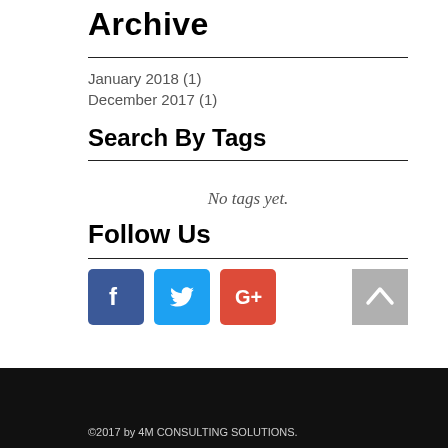Archive
January 2018 (1)
December 2017 (1)
Search By Tags
No tags yet.
Follow Us
[Figure (infographic): Social media icons: Facebook (blue), Twitter (light blue), Google+ (red), and a back-to-top arrow button (grey)]
©2017 by 4M CONSULTING SOLUTIONS.